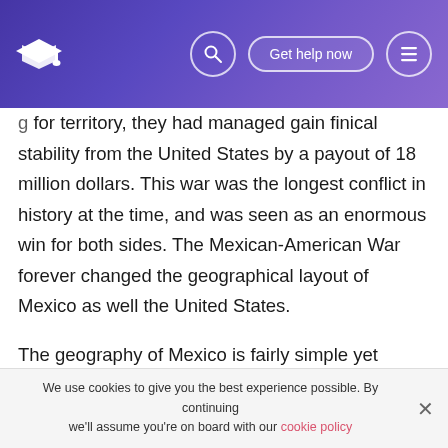Get help now
for territory, they had managed gain finical stability from the United States by a payout of 18 million dollars. This war was the longest conflict in history at the time, and was seen as an enormous win for both sides. The Mexican-American War forever changed the geographical layout of Mexico as well the United States.
The geography of Mexico is fairly simple yet complexed. This nation filled with everything from peaked mountains, to aired deserts, and even dense rain forests. The climate of this area dictates every environment in that country.
We use cookies to give you the best experience possible. By continuing we'll assume you're on board with our cookie policy